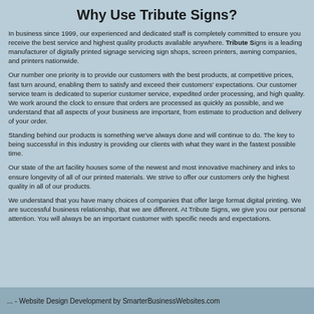Why Use Tribute Signs?
In business since 1999, our experienced and dedicated staff is completely committed to ensure you receive the best service and highest quality products available anywhere. Tribute Signs is a leading manufacturer of digitally printed signage servicing sign shops, screen printers, awning companies, and printers nationwide.
Our number one priority is to provide our customers with the best products, at competitive prices, fast turn around, enabling them to satisfy and exceed their customers' expectations. Our customer service team is dedicated to superior customer service, expedited order processing, and high quality. We work around the clock to ensure that orders are processed as quickly as possible, and we understand that all aspects of your business are important, from estimate to production and delivery of your order.
Standing behind our products is something we've always done and will continue to do. The key to being successful in this industry is providing our clients with what they want in the fastest possible time.
Our state of the art facility houses some of the newest and most innovative machinery and inks to ensure longevity of all of our printed materials. We strive to offer our customers only the highest quality in all of our products.
We understand that you have many choices of companies that offer large format digital printing. We are successful business relationship, that we are different. At Tribute Signs, we give you our personal attention. You will always be an important customer with specific needs and expectations.
... - Website Design Development by SmarterBusinessWebsites.com